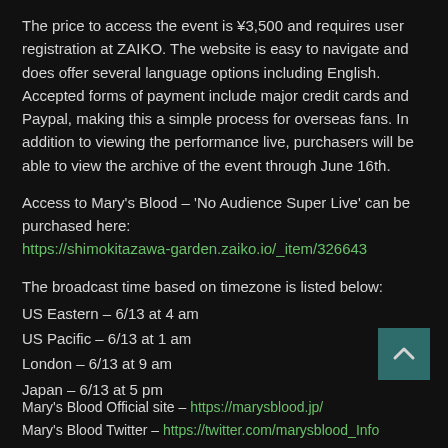The price to access the event is ¥3,500 and requires user registration at ZAIKO. The website is easy to navigate and does offer several language options including English. Accepted forms of payment include major credit cards and Paypal, making this a simple process for overseas fans. In addition to viewing the performance live, purchasers will be able to view the archive of the event through June 16th.
Access to Mary's Blood – 'No Audience Super Live' can be purchased here: https://shimokitazawa-garden.zaiko.io/_item/326643
The broadcast time based on timezone is listed below:
US Eastern – 6/13 at 4 am
US Pacific – 6/13 at 1 am
London – 6/13 at 9 am
Japan – 6/13 at 5 pm
Mary's Blood Official site – https://marysblood.jp/
Mary's Blood Twitter – https://twitter.com/marysblood_Info